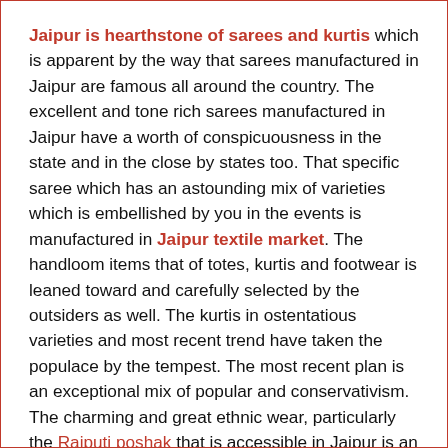Jaipur is hearthstone of sarees and kurtis which is apparent by the way that sarees manufactured in Jaipur are famous all around the country. The excellent and tone rich sarees manufactured in Jaipur have a worth of conspicuousness in the state and in the close by states too. That specific saree which has an astounding mix of varieties which is embellished by you in the events is manufactured in Jaipur textile market. The handloom items that of totes, kurtis and footwear is leaned toward and carefully selected by the outsiders as well. The kurtis in ostentatious varieties and most recent trend have taken the populace by the tempest. The most recent plan is an exceptional mix of popular and conservativism. The charming and great ethnic wear, particularly the Rajputi poshak that is accessible in Jaipur is an image of the conservativism and style. The wedding sarees and Lehengas are manufactured remembering the requests of the clients which additionally incorporates the client base